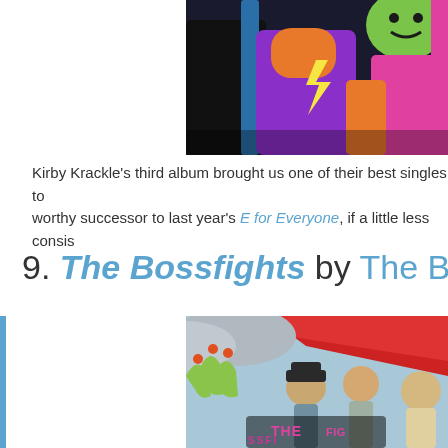[Figure (illustration): Comic-style colorful illustration showing characters with lightning bolt symbols, bright colors including purple, orange, and blue — Kirby Krackle album art (top, cropped).]
Kirby Krackle's third album brought us one of their best singles to worthy successor to last year's E for Everyone, if a little less consis
9. The Bossfights by The Bossfights
[Figure (illustration): Comic-style illustration showing fighting characters in action poses against a red and blue background with 'THE BOSSFIGHTS' text at the bottom — album cover art.]